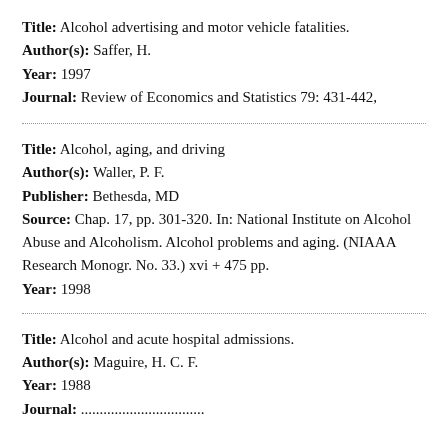Title: Alcohol advertising and motor vehicle fatalities. Author(s): Saffer, H. Year: 1997 Journal: Review of Economics and Statistics 79: 431-442,
Title: Alcohol, aging, and driving Author(s): Waller, P. F. Publisher: Bethesda, MD Source: Chap. 17, pp. 301-320. In: National Institute on Alcohol Abuse and Alcoholism. Alcohol problems and aging. (NIAAA Research Monogr. No. 33.) xvi + 475 pp. Year: 1998
Title: Alcohol and acute hospital admissions. Author(s): Maguire, H. C. F. Year: 1988 Journal: ...